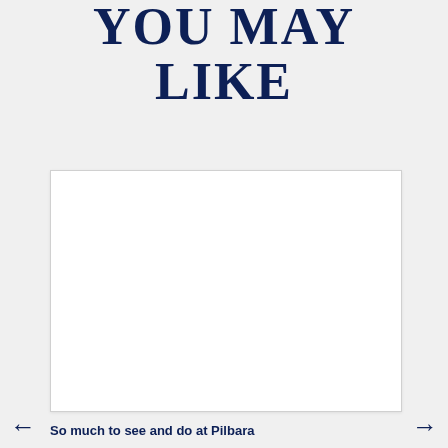YOU MAY LIKE
[Figure (photo): White card/image placeholder box]
So much to see and do at Pilbara